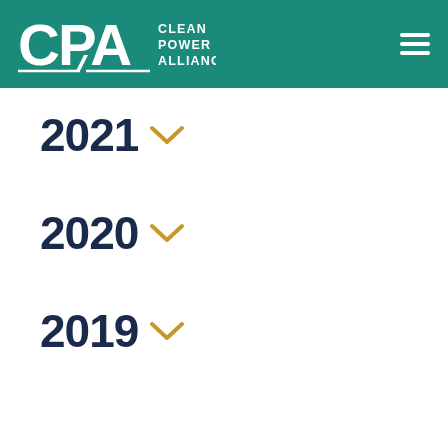[Figure (logo): Clean Power Alliance (CPA) logo with teal background header and hamburger menu icon]
2021
2020
2019